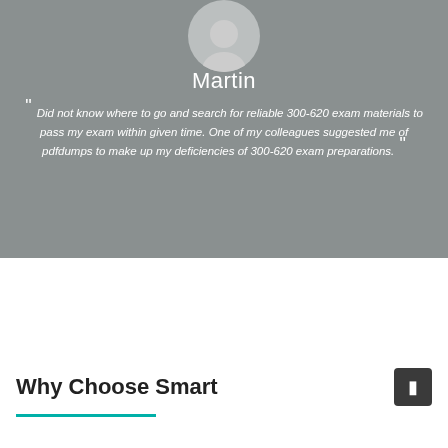[Figure (photo): Blurred background photo of person working at laptop with circular avatar portrait of Martin at top center]
Martin
“ Did not know where to go and search for reliable 300-620 exam materials to pass my exam within given time. One of my colleagues suggested me of pdfdumps to make up my deficiencies of 300-620 exam preparations. ”
Why Choose Smart